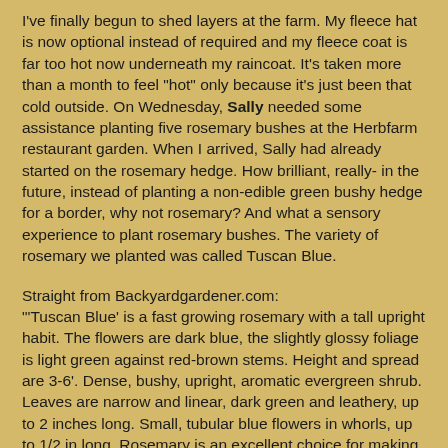I've finally begun to shed layers at the farm. My fleece hat is now optional instead of required and my fleece coat is far too hot now underneath my raincoat. It's taken more than a month to feel "hot" only because it's just been that cold outside. On Wednesday, Sally needed some assistance planting five rosemary bushes at the Herbfarm restaurant garden. When I arrived, Sally had already started on the rosemary hedge. How brilliant, really- in the future, instead of planting a non-edible green bushy hedge for a border, why not rosemary? And what a sensory experience to plant rosemary bushes. The variety of rosemary we planted was called Tuscan Blue.
Straight from Backyardgardener.com:
"'Tuscan Blue' is a fast growing rosemary with a tall upright habit. The flowers are dark blue, the slightly glossy foliage is light green against red-brown stems. Height and spread are 3-6'. Dense, bushy, upright, aromatic evergreen shrub. Leaves are narrow and linear, dark green and leathery, up to 2 inches long. Small, tubular blue flowers in whorls, up to 1/2 in long. Rosemary is an excellent choice for making topiaries, and widely used in cooking especially Italian